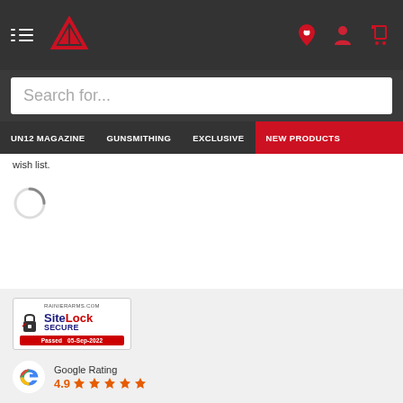[Figure (screenshot): Website header navigation bar with hamburger menu, Rainier Arms logo, location pin icon, user icon, and cart icon on dark background]
[Figure (screenshot): Search input field with placeholder text 'Search for...']
UN12 MAGAZINE  GUNSMITHING  EXCLUSIVE  NEW PRODUCTS
wish list.
[Figure (other): Loading spinner/throbber circle]
[Figure (logo): SiteLock Secure badge - RAINIERARMS.COM - SiteLock SECURE - Passed 05-Sep-2022]
[Figure (other): Google Rating - 4.9 stars with Google G logo]